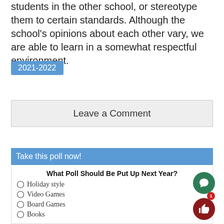students in the other school, or stereotype them to certain standards. Although the school's opinions about each other vary, we are able to learn in a somewhat respectful environment.
2021-2022
Leave a Comment
Take this poll now!
What Poll Should Be Put Up Next Year?
Holiday style
Video Games
Board Games
Books